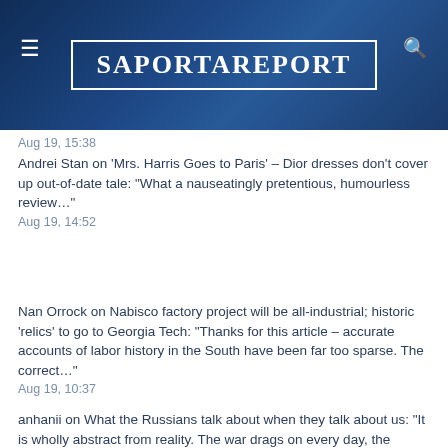[Figure (other): SaportaReport website header banner with logo, hamburger menu icon, and search icon on a dark blue city background]
Aug 19, 15:38
Andrei Stan on 'Mrs. Harris Goes to Paris' – Dior dresses don't cover up out-of-date tale: "What a nauseatingly pretentious, humourless review..."
Aug 19, 14:52
Nan Orrock on Nabisco factory project will be all-industrial; historic 'relics' to go to Georgia Tech: "Thanks for this article – accurate accounts of labor history in the South have been far too sparse. The correct..."
Aug 19, 10:37
anhanii on What the Russians talk about when they talk about us: "It is wholly abstract from reality. The war drags on every day, the shelves are bare, the population gets poorer..."